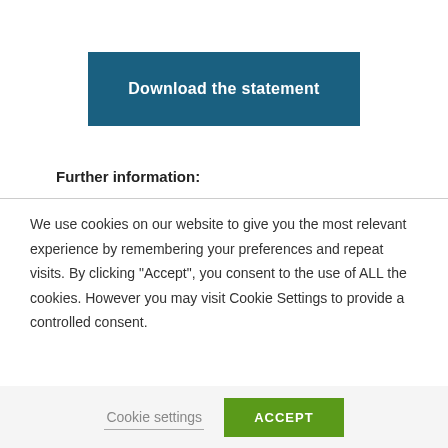[Figure (other): Blue button with white bold text reading 'Download the statement']
Further information:
We use cookies on our website to give you the most relevant experience by remembering your preferences and repeat visits. By clicking “Accept”, you consent to the use of ALL the cookies. However you may visit Cookie Settings to provide a controlled consent.
Cookie settings  ACCEPT